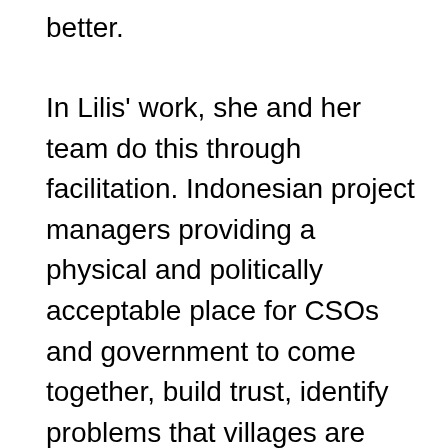better.
In Lilis’ work, she and her team do this through facilitation. Indonesian project managers providing a physical and politically acceptable place for CSOs and government to come together, build trust, identify problems that villages are facing and try to come up with ways of solving them. A recent win includes one local government’s decision to invest its own funds to help CSOs scale up their social accountability tools to new villages and districts.